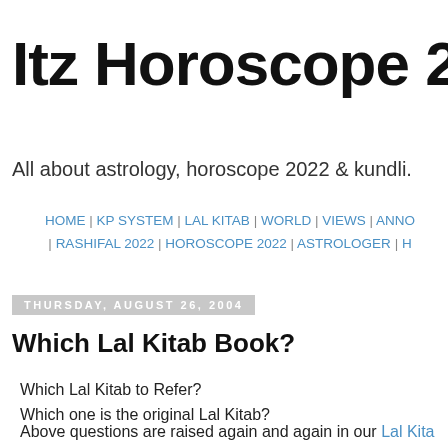Itz Horoscope 2022:
All about astrology, horoscope 2022 & kundli.
HOME | KP SYSTEM | LAL KITAB | WORLD | VIEWS | ANNO | RASHIFAL 2022 | HOROSCOPE 2022 | ASTROLOGER | H
THURSDAY, AUGUST 26, 2004
Which Lal Kitab Book?
Which Lal Kitab to Refer?
Which one is the original Lal Kitab?
Above questions are raised again and again in our Lal Kita decided to give answer of the question a permanent URL.